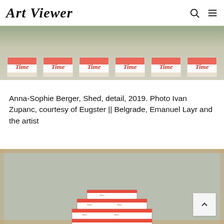Art Viewer
[Figure (photo): Detail photo of Time cigarette boxes arranged in rows on a surface, showing red and white packaging with the word Time in italic script]
Anna-Sophie Berger, Shed, detail, 2019. Photo Ivan Zupanc, courtesy of Eugster || Belgrade, Emanuel Layr and the artist
[Figure (photo): Photo of a large cube-like sculpture made from stacked Time cigarette boxes, sitting on a concrete floor with wooden frame borders visible around the edges]